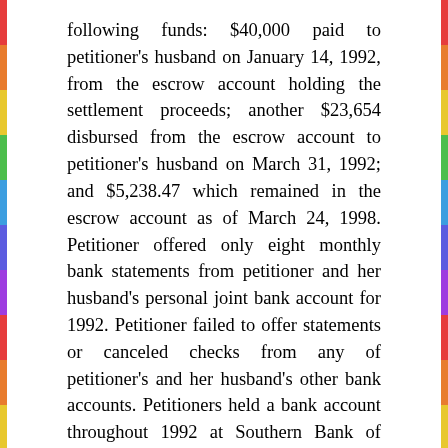following funds: $40,000 paid to petitioner's husband on January 14, 1992, from the escrow account holding the settlement proceeds; another $23,654 disbursed from the escrow account to petitioner's husband on March 31, 1992; and $5,238.47 which remained in the escrow account as of March 24, 1998. Petitioner offered only eight monthly bank statements from petitioner and her husband's personal joint bank account for 1992. Petitioner failed to offer statements or canceled checks from any of petitioner's and her husband's other bank accounts. Petitioners held a bank account throughout 1992 at Southern Bank of Florida. Petitioners did not produce bank statements relating to that account from the periods March 12 to April 12, 1992, from May 12 to July 12, 1992, from August 12 to September 12, 1992, and from December 12 to December 31, 1992. Petitioners failed to offer any bank statements or other financial records from